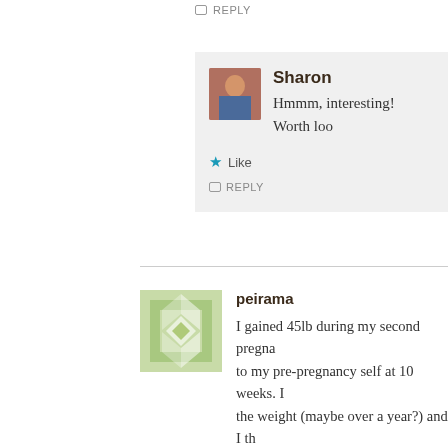REPLY
Sharon
Hmmm, interesting! Worth loo
Like
REPLY
peirama
I gained 45lb during my second pregna... to my pre-pregnancy self at 10 weeks. I... the weight (maybe over a year?) and I th... body back the way I expected. I stron... hard to put into practice) that you shou... and respect the fact that it has grown yo... That's hard work! Be patient with yours